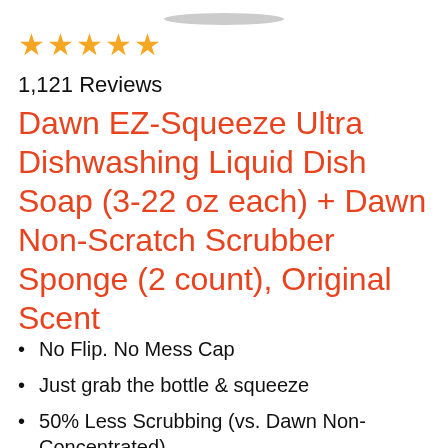[Figure (photo): Partial top of a product bottle visible at the top of the page]
★★★★★
1,121 Reviews
Dawn EZ-Squeeze Ultra Dishwashing Liquid Dish Soap (3-22 oz each) + Dawn Non-Scratch Scrubber Sponge (2 count), Original Scent
No Flip. No Mess Cap
Just grab the bottle & squeeze
50% Less Scrubbing (vs. Dawn Non-Concentrated)